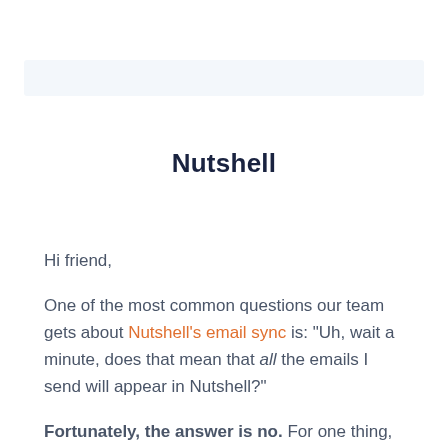[Figure (other): Light blue horizontal banner/header bar]
Nutshell
Hi friend,
One of the most common questions our team gets about Nutshell’s email sync is: “Uh, wait a minute, does that mean that all the emails I send will appear in Nutshell?”
Fortunately, the answer is no. For one thing,